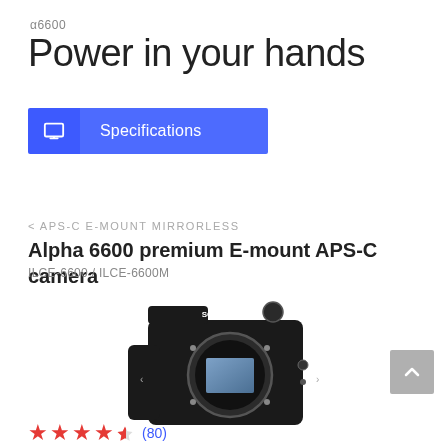α6600
Power in your hands
[Figure (screenshot): Blue Specifications button with a monitor/display icon on the left]
< APS-C E-MOUNT MIRRORLESS
Alpha 6600 premium E-mount APS-C camera
ILCE-6600 / ILCE-6600M
[Figure (photo): Sony Alpha 6600 mirrorless camera body in black, shown from the front with sensor exposed, SONY and alpha logos visible]
★★★★½ (80)